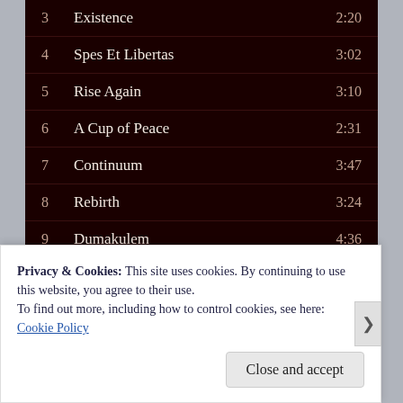3  Existence  2:20
4  Spes Et Libertas  3:02
5  Rise Again  3:10
6  A Cup of Peace  2:31
7  Continuum  3:47
8  Rebirth  3:24
9  Dumakulem  4:36
10  God Is With You  3:32
Privacy & Cookies: This site uses cookies. By continuing to use this website, you agree to their use.
To find out more, including how to control cookies, see here:
Cookie Policy
Close and accept